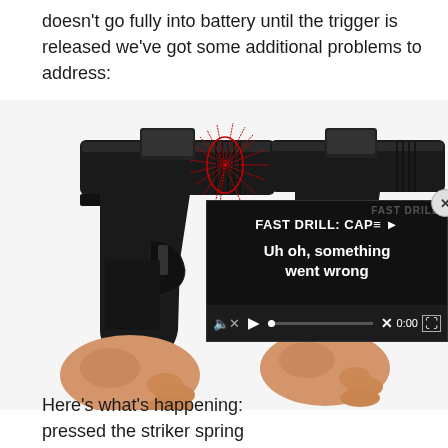doesn't go fully into battery until the trigger is released we've got some additional problems to address:
[Figure (photo): Two semi-automatic pistols (Glock-style) with red dot sights mounted on the slides, held by two hands side by side. The left pistol has a red starburst/sunburst annotation drawn around the slide area. White background.]
[Figure (screenshot): Video player overlay with dark background showing title 'FAST DRILL: CAP' and error message 'Uh oh, something went wrong'. Controls show mute icon, play button, progress bar with X mark, time 0:00, and fullscreen button. A circular close (x) button appears in the top-right corner.]
Here's what's happening: pressed the striker spring